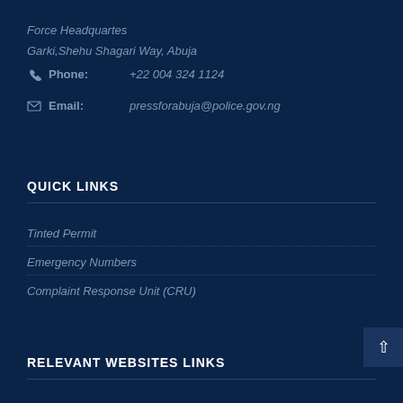Force Headquartes
Garki,Shehu Shagari Way, Abuja
Phone: +22 004 324 1124
Email: pressforabuja@police.gov.ng
QUICK LINKS
Tinted Permit
Emergency Numbers
Complaint Response Unit (CRU)
RELEVANT WEBSITES LINKS